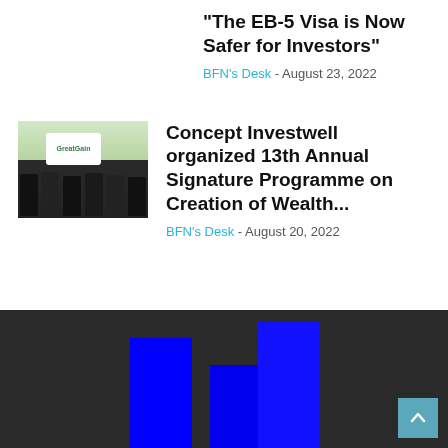“The EB-5 Visa is Now Safer for Investors”
BFN’s Desk - August 23, 2022
[Figure (photo): Conference panel event with people seated on stage in front of a green backdrop with a sign reading 'GreatGain']
Concept Investwell organized 13th Annual Signature Programme on Creation of Wealth...
BFN’s Desk - August 20, 2022
[Figure (bar-chart): Partial bar chart visible on dark background with blue bars of varying heights]